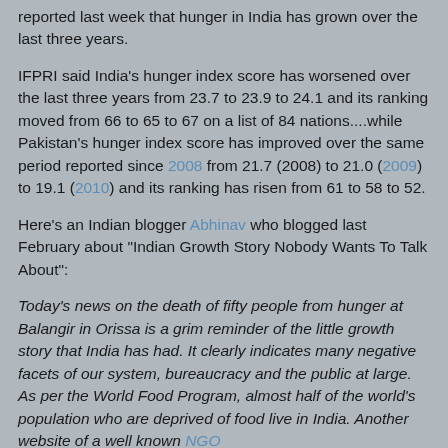reported last week that hunger in India has grown over the last three years.
IFPRI said India's hunger index score has worsened over the last three years from 23.7 to 23.9 to 24.1 and its ranking moved from 66 to 65 to 67 on a list of 84 nations....while Pakistan's hunger index score has improved over the same period reported since 2008 from 21.7 (2008) to 21.0 (2009) to 19.1 (2010) and its ranking has risen from 61 to 58 to 52.
Here's an Indian blogger Abhinav who blogged last February about "Indian Growth Story Nobody Wants To Talk About":
Today's news on the death of fifty people from hunger at Balangir in Orissa is a grim reminder of the little growth story that India has had. It clearly indicates many negative facets of our system, bureaucracy and the public at large. As per the World Food Program, almost half of the world's population who are deprived of food live in India. Another website of a well known NGO (http://www.bread.org/learn/hunger-basics/hunger-facts-international.html) offers a grim picture of this particular issue